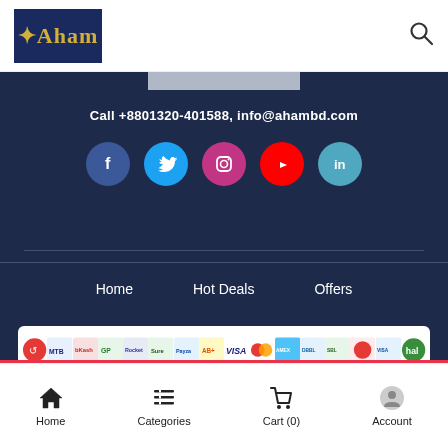[Figure (logo): Aham logo — dark blue box with gold serif text reading 'Aham' with a star]
Call +8801320-401588,  info@ahambd.com
[Figure (infographic): Row of 5 social media icon circles: Facebook (blue), Twitter (light blue), Instagram (magenta), YouTube (red), LinkedIn (teal)]
Home
Hot Deals
Offers
[Figure (infographic): Row of payment method logos including MTB, bKash, VISA, Mastercard, American Express, and others on white background]
Home   Categories   Cart (0)   Account